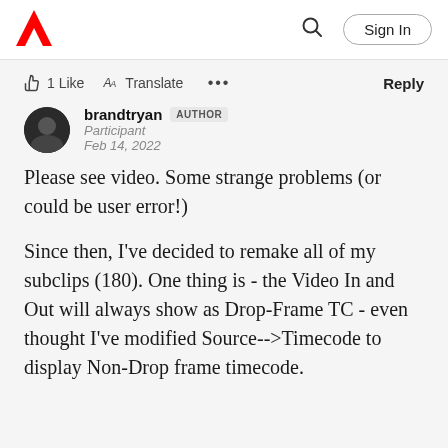Adobe | Sign In
👍 1 Like  🅰 Translate  ...  Reply
brandtryan AUTHOR
Participant
Feb 14, 2022
Please see video. Some strange problems (or could be user error!)
Since then, I've decided to remake all of my subclips (180). One thing is - the Video In and Out will always show as Drop-Frame TC - even thought I've modified Source-->Timecode to display Non-Drop frame timecode.